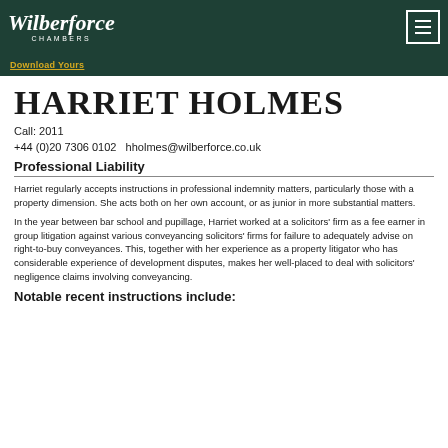Wilberforce Chambers
HARRIET HOLMES
Call: 2011
+44 (0)20 7306 0102   hholmes@wilberforce.co.uk
Professional Liability
Harriet regularly accepts instructions in professional indemnity matters, particularly those with a property dimension.  She acts both on her own account, or as junior in more substantial matters.
In the year between bar school and pupillage, Harriet worked at a solicitors' firm as a fee earner in group litigation against various conveyancing solicitors' firms for failure to adequately advise on right-to-buy conveyances.  This, together with her experience as a property litigator who has considerable experience of development disputes, makes her well-placed to deal with solicitors' negligence claims involving conveyancing.
Notable recent instructions include: